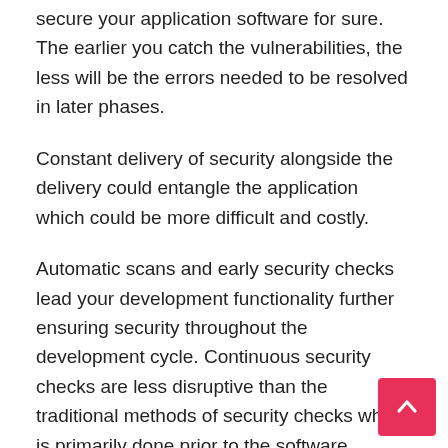software development process will help to secure your application software for sure. The earlier you catch the vulnerabilities, the less will be the errors needed to be resolved in later phases.
Constant delivery of security alongside the delivery could entangle the application which could be more difficult and costly.
Automatic scans and early security checks lead your development functionality further ensuring security throughout the development cycle. Continuous security checks are less disruptive than the traditional methods of security checks which is primarily done prior to the software delivery. DevSecOps is considered adopting automated testing methods in the course of